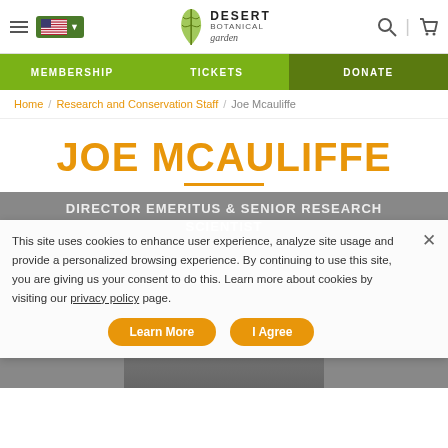Desert Botanical Garden — site header with navigation: MEMBERSHIP | TICKETS | DONATE
Home / Research and Conservation Staff / Joe Mcauliffe
JOE MCAULIFFE
DIRECTOR EMERITUS & SENIOR RESEARCH SCIENTIST
This site uses cookies to enhance user experience, analyze site usage and provide a personalized browsing experience. By continuing to use this site, you are giving us your consent to do this. Learn more about cookies by visiting our privacy policy page.